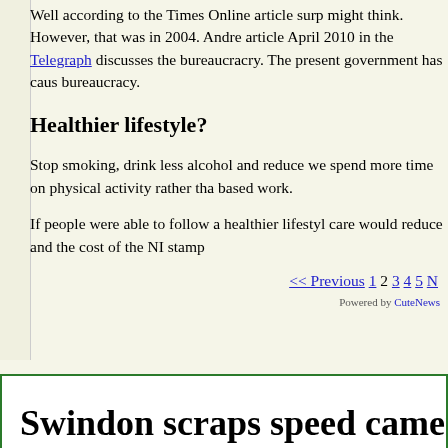Well according to the Times Online article surp might think. However, that was in 2004. Andre article April 2010 in the Telegraph discusses the bureaucracry. The present government has caus bureaucracy.
Healthier lifestyle?
Stop smoking, drink less alcohol and reduce we spend more time on physical activity rather tha based work.
If people were able to follow a healthier lifestyl care would reduce and the cost of the NI stamp
<< Previous 1 2 3 4 5 N
Powered by CuteNews
Swindon scraps speed cameras.